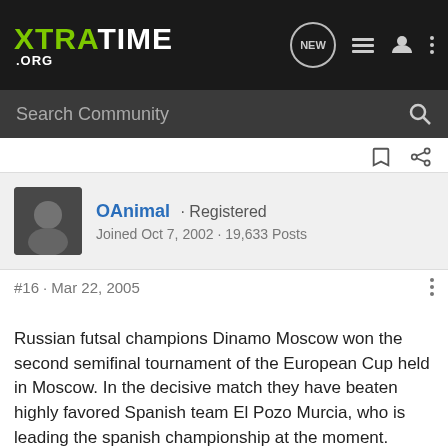XTRATIME.ORG
Search Community
OAnimal · Registered
Joined Oct 7, 2002 · 19,633 Posts
#16 · Mar 22, 2005
Russian futsal champions Dinamo Moscow won the second semifinal tournament of the European Cup held in Moscow. In the decisive match they have beaten highly favored Spanish team El Pozo Murcia, who is leading the spanish championship at the moment. :happy:

In the final Dinamo will play against the Belgium championship Actie 21 Charleroi, and I think 3 or 4 out of 10 days...